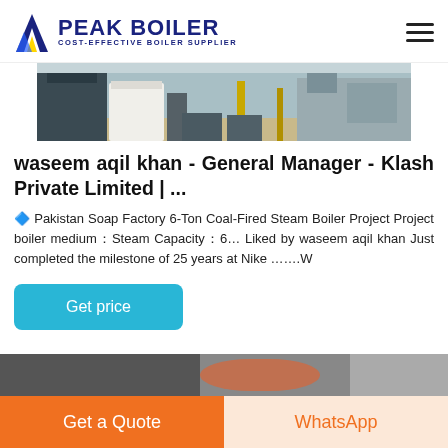PEAK BOILER - COST-EFFECTIVE BOILER SUPPLIER
[Figure (photo): Industrial boiler equipment in a factory setting, showing machinery and equipment on the floor]
waseem aqil khan - General Manager - Klash Private Limited | ...
🔷 Pakistan Soap Factory 6-Ton Coal-Fired Steam Boiler Project Project boiler medium：Steam Capacity：6… Liked by waseem aqil khan Just completed the milestone of 25 years at Nike …….W
Get price
[Figure (photo): Partial view of next article image at bottom of page]
Get a Quote
WhatsApp